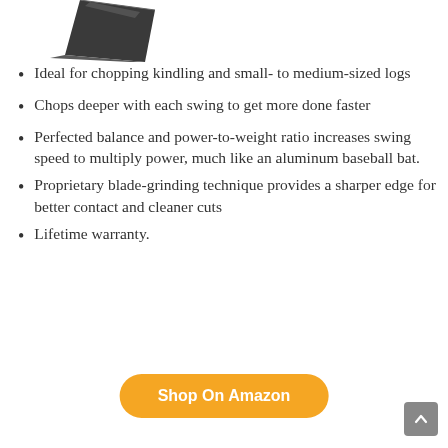[Figure (photo): Partial image of a dark-colored axe or hatchet blade visible at top left corner of page]
Ideal for chopping kindling and small- to medium-sized logs
Chops deeper with each swing to get more done faster
Perfected balance and power-to-weight ratio increases swing speed to multiply power, much like an aluminum baseball bat.
Proprietary blade-grinding technique provides a sharper edge for better contact and cleaner cuts
Lifetime warranty.
Shop On Amazon